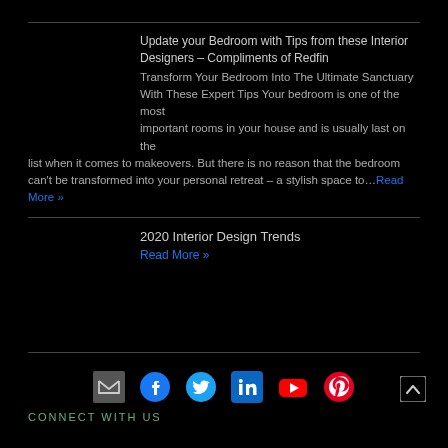Update your Bedroom with Tips from these Interior Designers – Compliments of Redfin
Transform Your Bedroom Into The Ultimate Sanctuary With These Expert Tips Your bedroom is one of the most important rooms in your house and is usually last on the list when it comes to makeovers. But there is no reason that the bedroom can't be transformed into your personal retreat – a stylish space to...Read More »
2020 Interior Design Trends
Read More »
[Figure (infographic): Social media icons row: email (gray envelope), Facebook (blue circle with f), Twitter (blue bird), LinkedIn (blue square with in), YouTube (red play button), Pinterest (red P)]
CONNECT WITH US